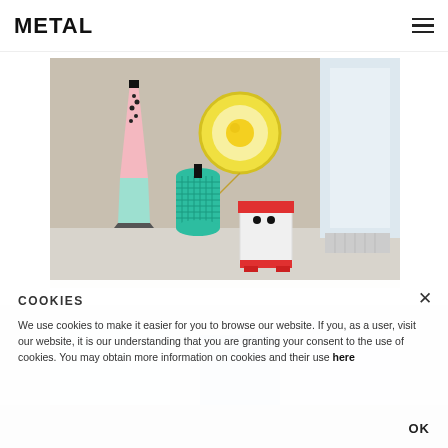METAL
[Figure (photo): Interior design display with colorful sculptural objects: a tall pink and mint obelisk tower, a teal cylindrical sculpture, a white boxy figure with red top and black dot eyes, and a circular yellow wall disc lamp. Set in a concrete-walled room with a window.]
[Figure (photo): Partially visible interior room with white furniture and light blue accents, blurred in background behind cookie consent dialog.]
COOKIES
We use cookies to make it easier for you to browse our website. If you, as a user, visit our website, it is our understanding that you are granting your consent to the use of cookies. You may obtain more information on cookies and their use here